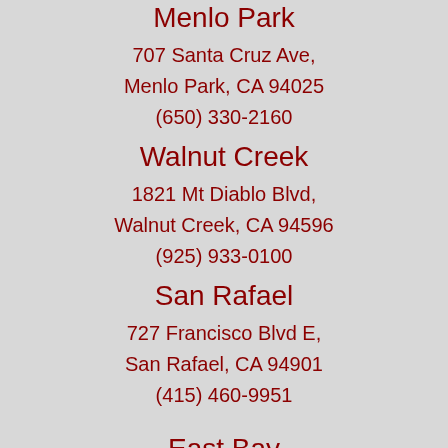Menlo Park
707 Santa Cruz Ave,
Menlo Park, CA 94025
(650) 330-2160
Walnut Creek
1821 Mt Diablo Blvd,
Walnut Creek, CA 94596
(925) 933-0100
San Rafael
727 Francisco Blvd E,
San Rafael, CA 94901
(415) 460-9951
East Bay
North Bay